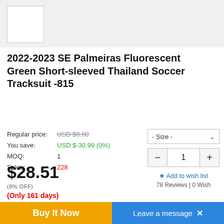[Figure (other): White logo/image placeholder box in gray header bar]
2022-2023 SE Palmeiras Fluorescent Green Short-sleeved Thailand Soccer Tracksuit -815
Regular price: USD $0.00
You save: USD $-30.99 (0%)
MOQ: 1
Sales: 228
$28.51
(8% OFF)
(Only 161 days)
- Size - (dropdown)
Quantity: - 1 +
★ Add to wish list
78 Reviews | 0 Wish
- Products Details
Buy It Now
Leave a message  ✕